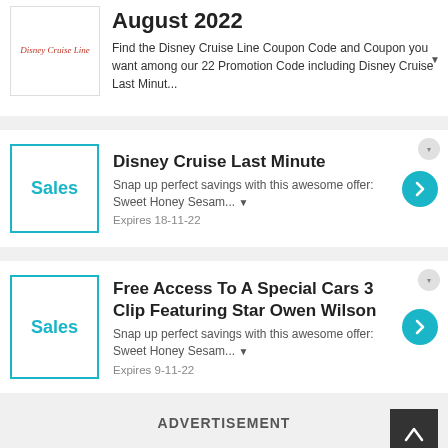[Figure (logo): Disney Cruise Line logo in red italic serif text]
August 2022
Find the Disney Cruise Line Coupon Code and Coupon you want among our 22 Promotion Code including Disney Cruise Last Minut...
Disney Cruise Last Minute
Snap up perfect savings with this awesome offer: Sweet Honey Sesam... ▼
Expires 18-11-22
Free Access To A Special Cars 3 Clip Featuring Star Owen Wilson
Snap up perfect savings with this awesome offer: Sweet Honey Sesam... ▼
Expires 9-11-22
ADVERTISEMENT